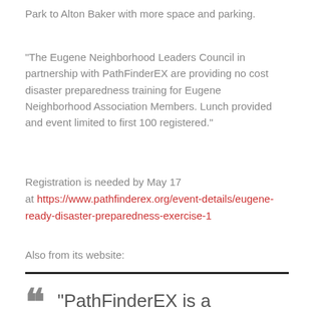Park to Alton Baker with more space and parking.
“The Eugene Neighborhood Leaders Council in partnership with PathFinderEX are providing no cost disaster preparedness training for Eugene Neighborhood Association Members. Lunch provided and event limited to first 100 registered.”
Registration is needed by May 17 at https://www.pathfinderex.org/event-details/eugene-ready-disaster-preparedness-exercise-1
Also from its website:
“PathFinderEX is a